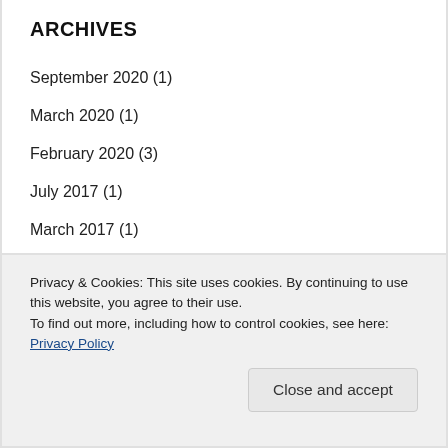ARCHIVES
September 2020 (1)
March 2020 (1)
February 2020 (3)
July 2017 (1)
March 2017 (1)
February 2017 (1)
January 2017 (1)
Privacy & Cookies: This site uses cookies. By continuing to use this website, you agree to their use.
To find out more, including how to control cookies, see here: Privacy Policy
Close and accept